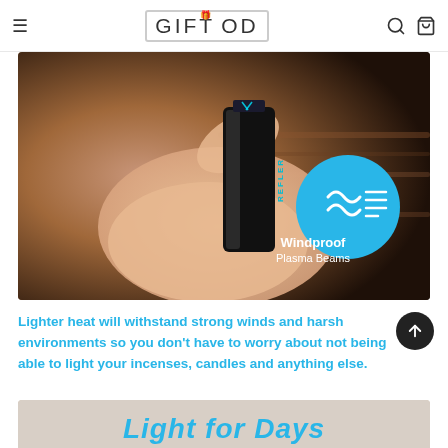GIFTOD
[Figure (photo): A hand holding a black electric plasma lighter against a blurred warm brown background, with a 'Windproof Plasma Beams' badge (cyan circle with wind icon) in the lower right of the image]
Lighter heat will withstand strong winds and harsh environments so you don't have to worry about not being able to light your incenses, candles and anything else.
[Figure (photo): Partial view of a second product image showing text 'Light for Days' in cyan italic font]